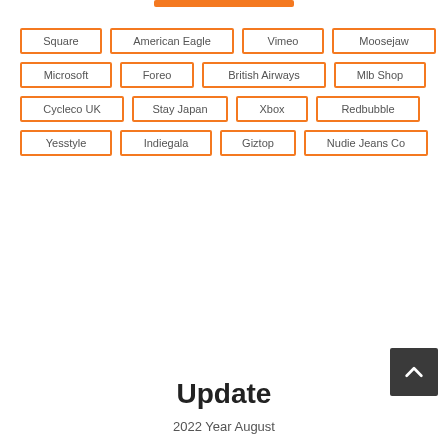Square
American Eagle
Vimeo
Moosejaw
Microsoft
Foreo
British Airways
Mlb Shop
Cycleco UK
Stay Japan
Xbox
Redbubble
Yesstyle
Indiegala
Giztop
Nudie Jeans Co
Update
2022 Year August